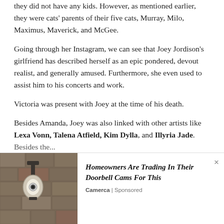they did not have any kids. However, as mentioned earlier, they were cats' parents of their five cats, Murray, Milo, Maximus, Maverick, and McGee.
Going through her Instagram, we can see that Joey Jordison's girlfriend has described herself as an epic pondered, devout realist, and generally amused. Furthermore, she even used to assist him to his concerts and work.
Victoria was present with Joey at the time of his death.
Besides Amanda, Joey was also linked with other artists like Lexa Vonn, Talena Atfield, Kim Dylla, and Illyria Jade.
Besides the...
[Figure (photo): Advertisement banner showing a wall-mounted light/camera fixture on a stone wall. Text reads: Homeowners Are Trading In Their Doorbell Cams For This. Source: Camerca | Sponsored]